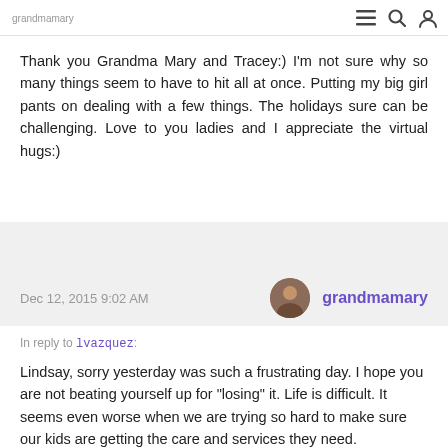grandmamary [icons: menu, search, user]
Thank you Grandma Mary and Tracey:) I'm not sure why so many things seem to have to hit all at once. Putting my big girl pants on dealing with a few things. The holidays sure can be challenging. Love to you ladies and I appreciate the virtual hugs:)
Dec 12, 2015 9:02 AM   grandmamary
In reply to lvazquez:
Lindsay, sorry yesterday was such a frustrating day. I hope you are not beating yourself up for "losing" it. Life is difficult. It seems even worse when we are trying so hard to make sure our kids are getting the care and services they need. Sometimes I would have to step back a bit